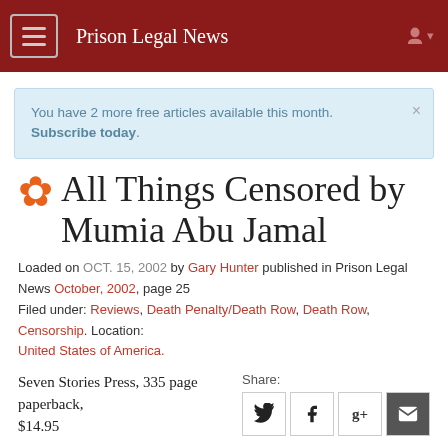Prison Legal News
You have 2 more free articles available this month. Subscribe today.
All Things Censored by Mumia Abu Jamal
Loaded on OCT. 15, 2002 by Gary Hunter published in Prison Legal News October, 2002, page 25
Filed under: Reviews, Death Penalty/Death Row, Death Row, Censorship. Location: United States of America.
Seven Stories Press, 335 page paperback, $14.95
Review by Gary Hunter
For nearly two decades Mumia Abu Jamal has defied the deathgrip of